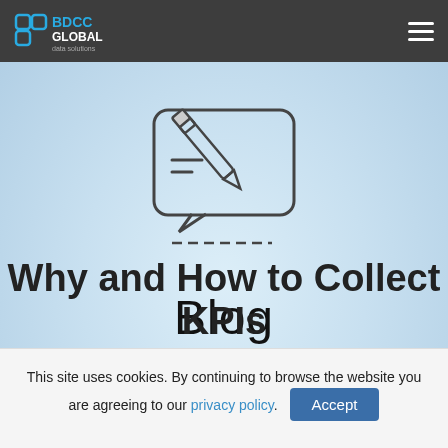BDCC GLOBAL
[Figure (illustration): Icon of a hand holding a pen writing on a speech/chat bubble, with a dashed horizontal line beneath it, representing blogging or writing]
Blog
Why and How to Collect KPIs
This site uses cookies. By continuing to browse the website you are agreeing to our privacy policy.